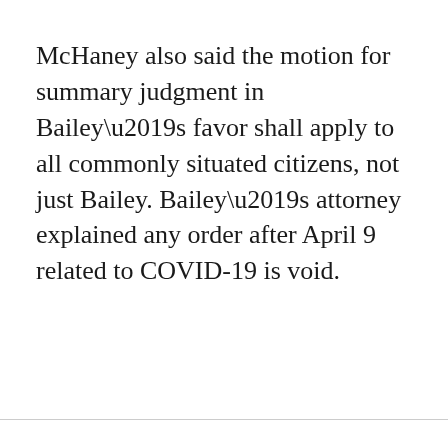McHaney also said the motion for summary judgment in Bailey’s favor shall apply to all commonly situated citizens, not just Bailey. Bailey’s attorney explained any order after April 9 related to COVID-19 is void.